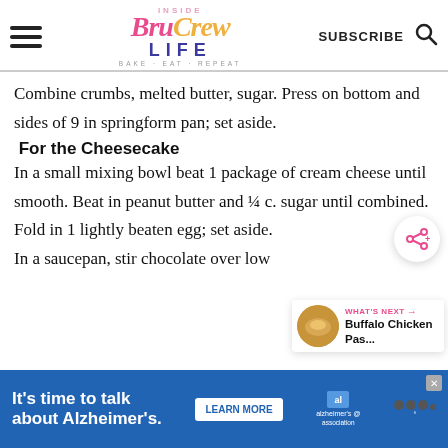Inside Bru Crew Life — SUBSCRIBE
Combine crumbs, melted butter, sugar. Press on bottom and sides of 9 in springform pan; set aside.
For the Cheesecake
In a small mixing bowl beat 1 package of cream cheese until smooth. Beat in peanut butter and ¼ c. sugar until combined. Fold in 1 lightly beaten egg; set aside.
In a saucepan, stir chocolate over low h...
[Figure (other): Share button overlay icon (pink share symbol with plus)]
[Figure (other): What's Next widget showing Buffalo Chicken Pas... next article thumbnail]
[Figure (other): Advertisement banner: It's time to talk about Alzheimer's. LEARN MORE — Alzheimer's Association logo]